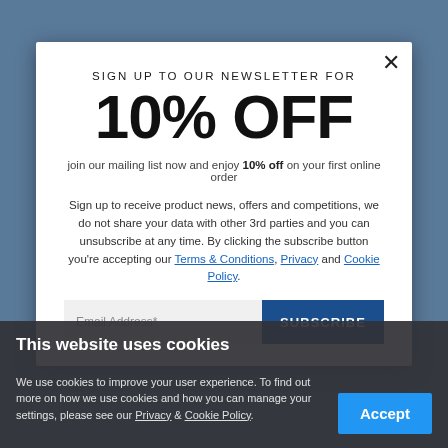[Figure (screenshot): Sports photography background showing football players, blurred/overlaid]
SIGN UP TO OUR NEWSLETTER FOR 10% OFF
join our mailing list now and enjoy 10% off on your first online order
Sign up to receive product news, offers and competitions, we do not share your data with other 3rd parties and you can unsubscribe at any time. By clicking the subscribe button you're accepting our Terms & Conditions, Privacy and Cookie Policy.
Email Address*
SUBSCRIBE
This website uses cookies
We use cookies to improve your user experience. To find out more on how we use cookies and how you can manage your settings, please see our Privacy & Cookie Policy.
Accept